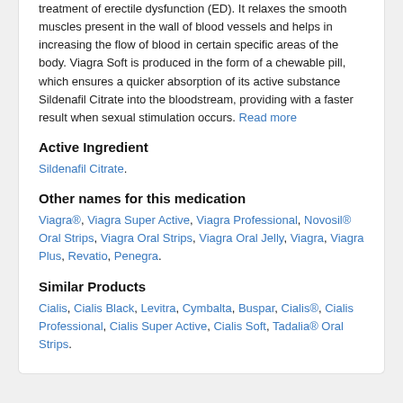treatment of erectile dysfunction (ED). It relaxes the smooth muscles present in the wall of blood vessels and helps in increasing the flow of blood in certain specific areas of the body. Viagra Soft is produced in the form of a chewable pill, which ensures a quicker absorption of its active substance Sildenafil Citrate into the bloodstream, providing with a faster result when sexual stimulation occurs. Read more
Active Ingredient
Sildenafil Citrate.
Other names for this medication
Viagra®, Viagra Super Active, Viagra Professional, Novosil® Oral Strips, Viagra Oral Strips, Viagra Oral Jelly, Viagra, Viagra Plus, Revatio, Penegra.
Similar Products
Cialis, Cialis Black, Levitra, Cymbalta, Buspar, Cialis®, Cialis Professional, Cialis Super Active, Cialis Soft, Tadalia® Oral Strips.
Prescription Drug Prices. Online Viagra Soft Generic